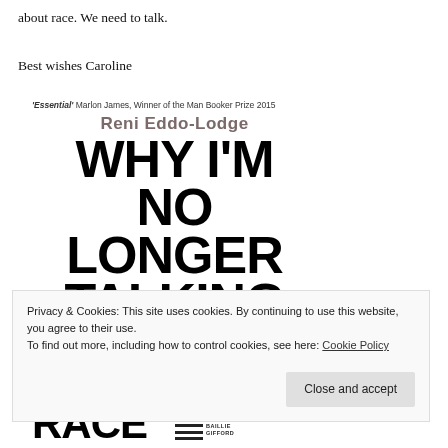about race. We need to talk.
Best wishes Caroline
[Figure (illustration): Book cover of 'Why I'm No Longer Talking to White People About Race' by Reni Eddo-Lodge, with quote from Marlon James, Man Booker Prize 2015 winner calling it 'Essential'. Large bold black text on white background. Faded grey text 'TO WHITE' visible below the main title.]
Privacy & Cookies: This site uses cookies. By continuing to use this website, you agree to their use.
To find out more, including how to control cookies, see here: Cookie Policy
Close and accept
RACE